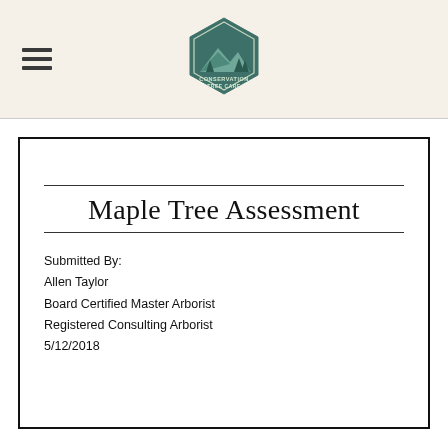Conservation Tree Care
Maple Tree Assessment
Submitted By:
Allen Taylor
Board Certified Master Arborist
Registered Consulting Arborist
5/12/2018